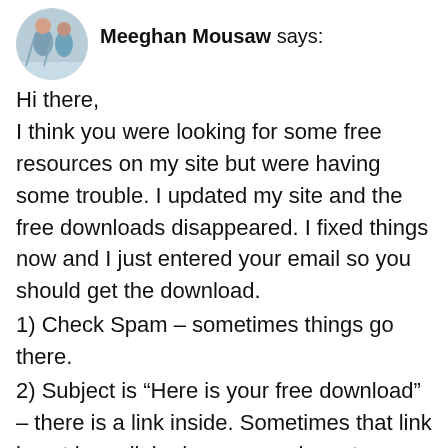[Figure (photo): Circular avatar photo of Meeghan Mousaw, showing two people in what appears to be a dance or fitness studio setting.]
Meeghan Mousaw says:
Hi there,
I think you were looking for some free resources on my site but were having some trouble. I updated my site and the free downloads disappeared. I fixed things now and I just entered your email so you should get the download.
1) Check Spam – sometimes things go there.
2) Subject is “Here is your free download” – there is a link inside. Sometimes that link is not hyperlinked…you may have to…
3) copy/paste the hyperlink for the download. It should open or download